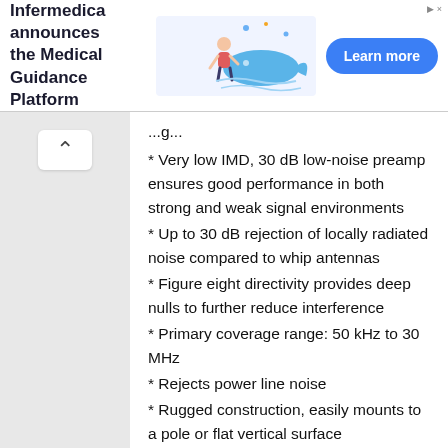[Figure (other): Advertisement banner for Infermedica Medical Guidance Platform with illustration of person and Learn more button]
* Very low IMD, 30 dB low-noise preamp ensures good performance in both strong and weak signal environments
* Up to 30 dB rejection of locally radiated noise compared to whip antennas
* Figure eight directivity provides deep nulls to further reduce interference
* Primary coverage range: 50 kHz to 30 MHz
* Rejects power line noise
* Rugged construction, easily mounts to a pole or flat vertical surface
* No manual tuning necessary
* No Home Owners Association problems; low profile and works at